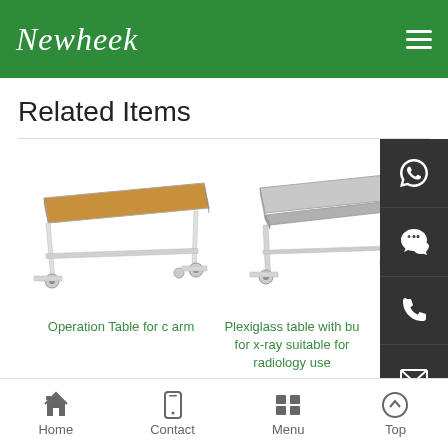Newheek
Related Items
[Figure (photo): Operation table for c arm - a white adjustable medical table on wheels with a wooden-colored tabletop, shown at an angle]
Operation Table for c arm
[Figure (photo): Plexiglass table with bucky for x-ray suitable for radiology use - a grey/silver x-ray table on wheels with sliding bucky tray]
Plexiglass table with bucky for x-ray suitable for radiology use
Home   Contact   Menu   Top